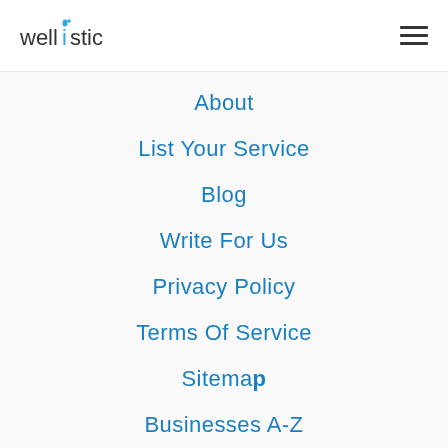wellistic [logo with hamburger menu]
About
List Your Service
Blog
Write For Us
Privacy Policy
Terms Of Service
Sitemap
Businesses A-Z